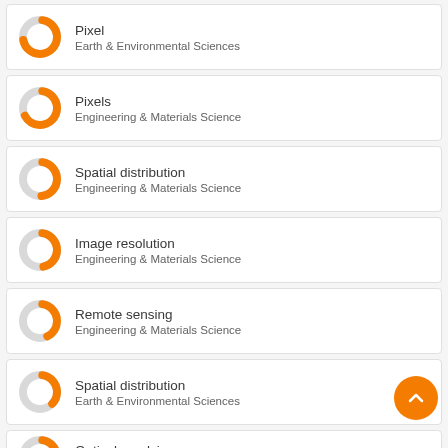Pixel — Earth & Environmental Sciences
Pixels — Engineering & Materials Science
Spatial distribution — Engineering & Materials Science
Image resolution — Engineering & Materials Science
Remote sensing — Engineering & Materials Science
Spatial distribution — Earth & Environmental Sciences
Optical resolving power — Engineering & Materials Science